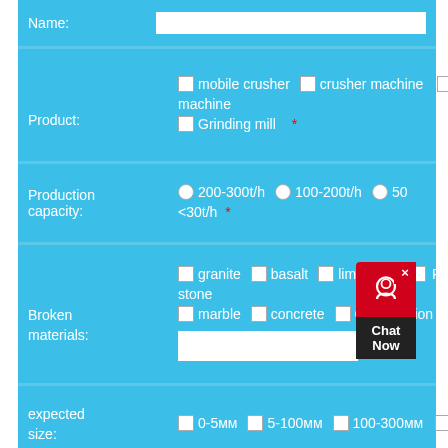Name:
Product: mobile crusher  crusher machine  machine  Grinding mill *
Production capacity: 200-300t/h  100-200t/h  50...  <30t/h *
Broken materials: granite  basalt  limestone  Pe...stone  marble  concrete  Construction wa...
expected size: 0-5мм  5-100мм  100-300мм
expected